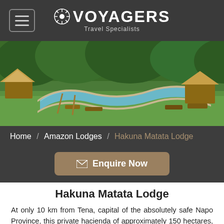VOYAGERS Travel Specialists
[Figure (photo): Aerial/wide view of a tropical lodge with a winding natural pool surrounded by green grass, thatched-roof bungalows, and dense jungle/forest in the background.]
Home / Amazon Lodges / Hakuna Matata Lodge
✉ Enquire Now
Hakuna Matata Lodge
At only 10 km from Tena, capital of the absolutely safe Napo Province, this private hacienda of approximately 150 hectares, is the perfect place to enjoy a never-ending series of activities to the fullest, which this area lends itself to more than any other. Hakuna Matata lies on the shores of the crystal-clear Inchillaqui River, at an altitude between